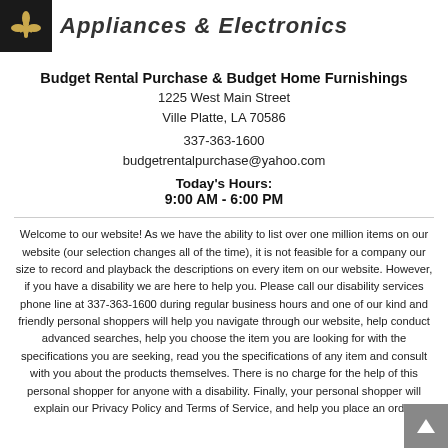[Figure (logo): Black square logo with gold fleur-de-lis icon, followed by decorative script site title 'Appliances & Electronics']
Budget Rental Purchase & Budget Home Furnishings
1225 West Main Street
Ville Platte, LA 70586
337-363-1600
budgetrentalpurchase@yahoo.com
Today's Hours:
9:00 AM - 6:00 PM
Welcome to our website! As we have the ability to list over one million items on our website (our selection changes all of the time), it is not feasible for a company our size to record and playback the descriptions on every item on our website. However, if you have a disability we are here to help you. Please call our disability services phone line at 337-363-1600 during regular business hours and one of our kind and friendly personal shoppers will help you navigate through our website, help conduct advanced searches, help you choose the item you are looking for with the specifications you are seeking, read you the specifications of any item and consult with you about the products themselves. There is no charge for the help of this personal shopper for anyone with a disability. Finally, your personal shopper will explain our Privacy Policy and Terms of Service, and help you place an order